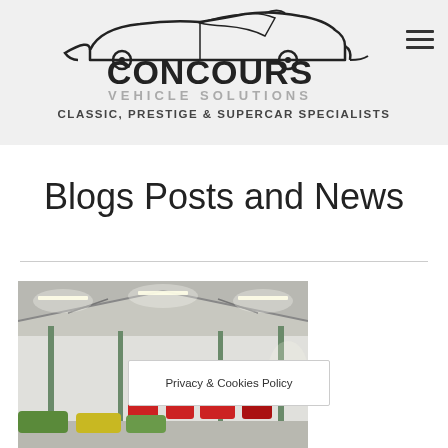[Figure (logo): Concours Vehicle Solutions logo — stylized sports car silhouette above bold 'CONCOURS' text and 'VEHICLE SOLUTIONS' in grey letters]
CLASSIC, PRESTIGE & SUPERCAR SPECIALISTS
Blogs Posts and News
[Figure (photo): Interior of a large vehicle storage warehouse/showroom with high roof, fluorescent lighting, and classic/sports cars visible]
Privacy & Cookies Policy